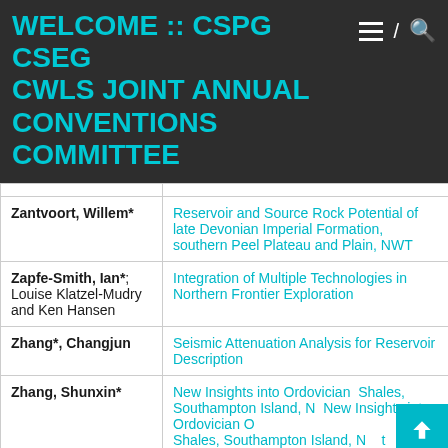WELCOME :: CSPG CSEG CWLS JOINT ANNUAL CONVENTIONS COMMITTEE
| Author | Title |
| --- | --- |
| Zantvoort, Willem* | Reservoir and Source Rock Potential of late Devonian Imperial Formation, southern Peel Plateau and Plain, NWT |
| Zapfe-Smith, Ian*; Louise Klatzel-Mudry and Ken Hansen | Integration of Multiple Technologies in Northern Frontier Exploration |
| Zhang*, Changjun | Seismic Attenuation Analysis for Reservoir Description |
| Zhang, Shunxin* | New Insights into Ordovician Shales, Southampton Island, NWT |
| Zhang, Zimin*; | Well Log Analysis and Seismic |